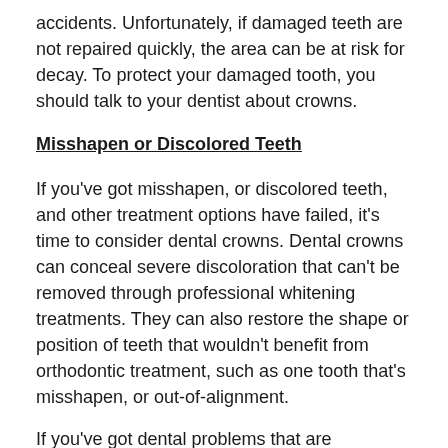accidents. Unfortunately, if damaged teeth are not repaired quickly, the area can be at risk for decay. To protect your damaged tooth, you should talk to your dentist about crowns.
Misshapen or Discolored Teeth
If you've got misshapen, or discolored teeth, and other treatment options have failed, it's time to consider dental crowns. Dental crowns can conceal severe discoloration that can't be removed through professional whitening treatments. They can also restore the shape or position of teeth that wouldn't benefit from orthodontic treatment, such as one tooth that's misshapen, or out-of-alignment.
If you've got dental problems that are interfering with your daily life, or preventing you from putting your best smile out there, it's time to talk your cosmetic dentist about the benefits of dental crowns.